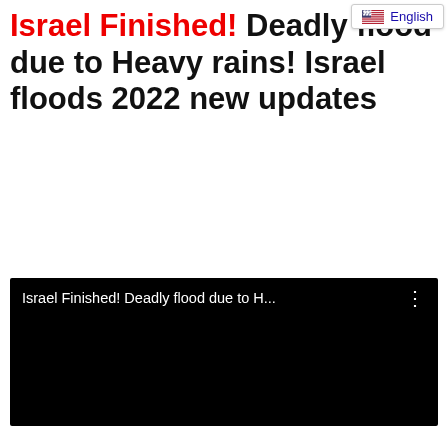English
Israel Finished! Deadly flood due to Heavy rains! Israel floods 2022 new updates
[Figure (screenshot): Embedded video player with black background showing title: Israel Finished! Deadly flood due to H...]